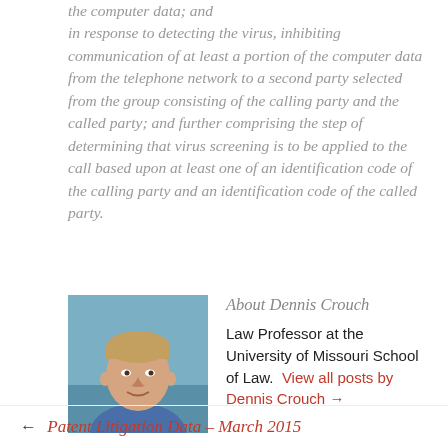the computer data; and in response to detecting the virus, inhibiting communication of at least a portion of the computer data from the telephone network to a second party selected from the group consisting of the calling party and the called party; and further comprising the step of determining that virus screening is to be applied to the call based upon at least one of an identification code of the calling party and an identification code of the called party.
About Dennis Crouch
[Figure (photo): Headshot photo of Dennis Crouch, a man with short light hair wearing a blue shirt, outdoors background]
Law Professor at the University of Missouri School of Law. View all posts by Dennis Crouch →
← Patent Litigation Data – March 2015